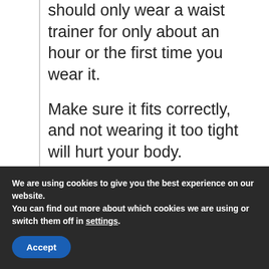should only wear a waist trainer for only about an hour or the first time you wear it.
Make sure it fits correctly, and not wearing it too tight will hurt your body.
After you’ve sensed your body’s well-being, slowly increase the amount of time
We are using cookies to give you the best experience on our website.
You can find out more about which cookies we are using or switch them off in settings.
Accept